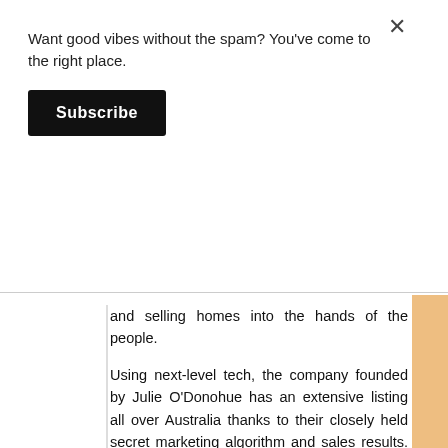Want good vibes without the spam? You've come to the right place.
Subscribe
and selling homes into the hands of the people.
Using next-level tech, the company founded by Julie O'Donohue has an extensive listing all over Australia thanks to their closely held secret marketing algorithm and sales results. However, it is their virtual tech systems that have rocketed into popularity since COVID hit.
Julie says; “Virtual Technology creates powerful user interactions and social experiences, all with the goal to generate a positive impact.”
Cleverly named; the NextReality3D technology allows